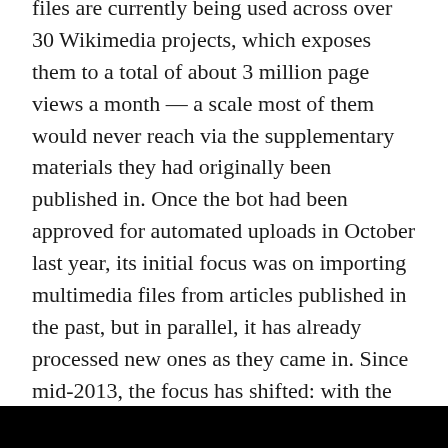files are currently being used across over 30 Wikimedia projects, which exposes them to a total of about 3 million page views a month — a scale most of them would never reach via the supplementary materials they had originally been published in. Once the bot had been approved for automated uploads in October last year, its initial focus was on importing multimedia files from articles published in the past, but in parallel, it has already processed new ones as they came in. Since mid-2013, the focus has shifted: with the exception of about a hundred files that failed to convert or upload properly, the import of backfiles has been completed, so the bot is now chiefly processing files from newly published articles, several hundreds per month.
[Figure (other): Black bar at the bottom of the page]